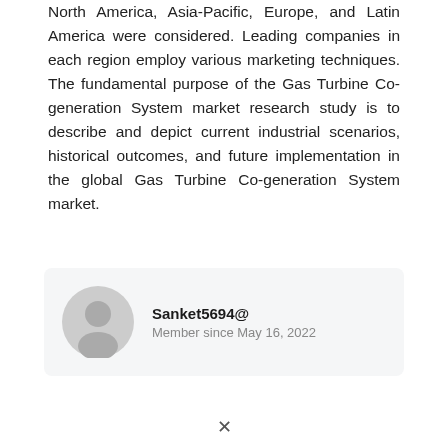North America, Asia-Pacific, Europe, and Latin America were considered. Leading companies in each region employ various marketing techniques. The fundamental purpose of the Gas Turbine Co-generation System market research study is to describe and depict current industrial scenarios, historical outcomes, and future implementation in the global Gas Turbine Co-generation System market.
[Figure (other): User profile card showing avatar icon, username Sanket5694@ and member since May 16, 2022]